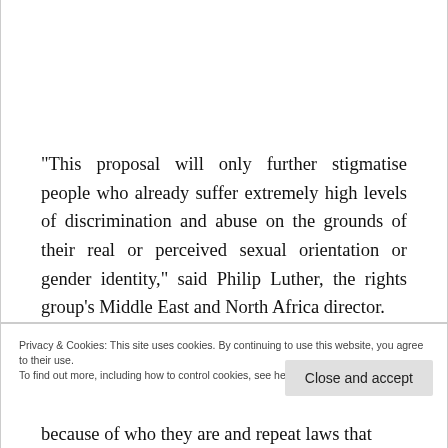“This proposal will only further stigmatise people who already suffer extremely high levels of discrimination and abuse on the grounds of their real or perceived sexual orientation or gender identity,” said Philip Luther, the rights group’s Middle East and North Africa director.
Privacy & Cookies: This site uses cookies. By continuing to use this website, you agree to their use.
To find out more, including how to control cookies, see here: Cookie Policy
Close and accept
because of who they are and repeat laws that